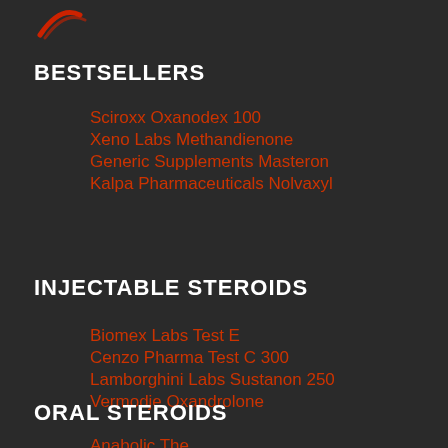[Figure (logo): Partial red logo visible at top of page]
BESTSELLERS
Sciroxx Oxanodex 100
Xeno Labs Methandienone
Generic Supplements Masteron
Kalpa Pharmaceuticals Nolvaxyl
INJECTABLE STEROIDS
Biomex Labs Test E
Cenzo Pharma Test C 300
Lamborghini Labs Sustanon 250
Vermodje Oxandrolone
ORAL STEROIDS
Anabolic The...